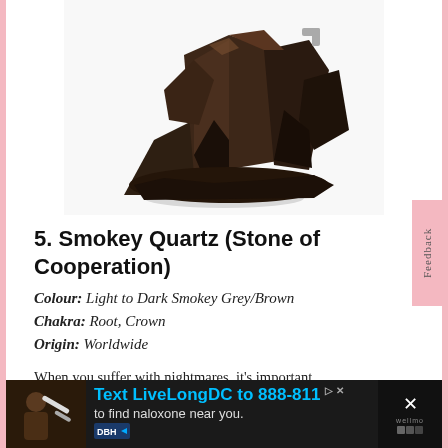[Figure (photo): A smokey quartz crystal cluster, dark brownish-grey in color, displayed on a white background.]
5. Smokey Quartz (Stone of Cooperation)
Colour: Light to Dark Smokey Grey/Brown
Chakra: Root, Crown
Origin: Worldwide
When you suffer with nightmares, it's important
[Figure (infographic): Advertisement banner: Text LiveLongDC to 888-811 to find naloxone near you. DBH logo.]